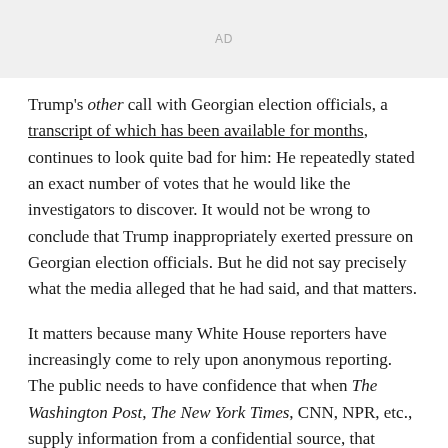[Figure (other): Advertisement placeholder box with 'AD' label in gray]
Trump's other call with Georgian election officials, a transcript of which has been available for months, continues to look quite bad for him: He repeatedly stated an exact number of votes that he would like the investigators to discover. It would not be wrong to conclude that Trump inappropriately exerted pressure on Georgian election officials. But he did not say precisely what the media alleged that he had said, and that matters.
It matters because many White House reporters have increasingly come to rely upon anonymous reporting. The public needs to have confidence that when The Washington Post, The New York Times, CNN, NPR, etc., supply information from a confidential source, that information is accurate. When a source's name is used in